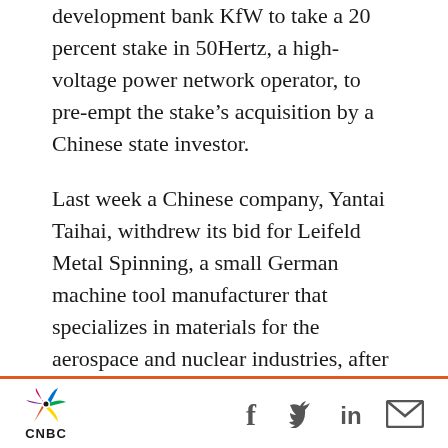development bank KfW to take a 20 percent stake in 50Hertz, a high-voltage power network operator, to pre-empt the stake's acquisition by a Chinese state investor.
Last week a Chinese company, Yantai Taihai, withdrew its bid for Leifeld Metal Spinning, a small German machine tool manufacturer that specializes in materials for the aerospace and nuclear industries, after the government moved to block the deal. It would have been the first use of Germany's foreign investment law to veto a mergers and acquisitions transaction.
CNBC [logo] | Social icons: Facebook, Twitter, LinkedIn, Email